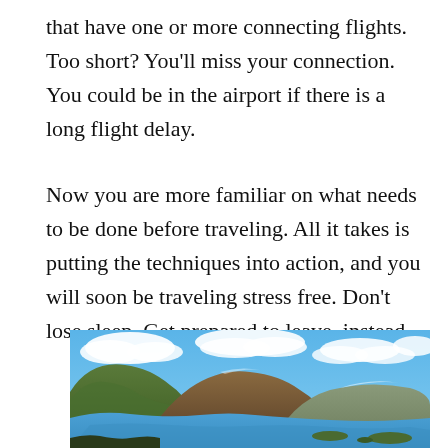that have one or more connecting flights. Too short? You'll miss your connection. You could be in the airport if there is a long flight delay.
Now you are more familiar on what needs to be done before traveling. All it takes is putting the techniques into action, and you will soon be traveling stress free. Don't lose sleep. Get prepared to leave, instead.
[Figure (photo): Scenic landscape photo showing a blue lake with small islands, mountains with green and brown slopes, and a bright blue sky with white clouds.]